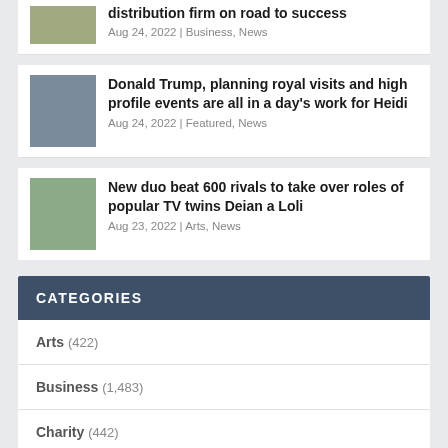distribution firm on road to success
Aug 24, 2022 | Business, News
Donald Trump, planning royal visits and high profile events are all in a day's work for Heidi
Aug 24, 2022 | Featured, News
New duo beat 600 rivals to take over roles of popular TV twins Deian a Loli
Aug 23, 2022 | Arts, News
CATEGORIES
Arts (422)
Business (1,483)
Charity (442)